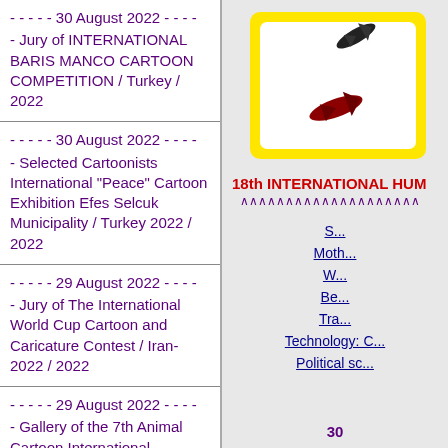- - - - - 30 August 2022 - - - -
- Jury of INTERNATIONAL BARIS MANCO CARTOON COMPETITION / Turkey / 2022
- - - - - 30 August 2022 - - - -
- Selected Cartoonists International "Peace" Cartoon Exhibition Efes Selcuk Municipality / Turkey 2022 / 2022
- - - - - 29 August 2022 - - - -
- Jury of The International World Cup Cartoon and Caricature Contest / Iran- 2022 / 2022
- - - - - 29 August 2022 - - - -
- Gallery of the 7th Animal Cartoon International
[Figure (illustration): Logo/image for 18th International Humor event, white square with yellow border containing two airplane/bird illustrations on gray background]
18th INTERNATIONAL HUM...
∧∧∧∧∧∧∧∧∧∧∧∧∧∧∧∧∧∧
S...
Moth...
W...
Be...
Tra...
Technology: C...
Political sc...
30